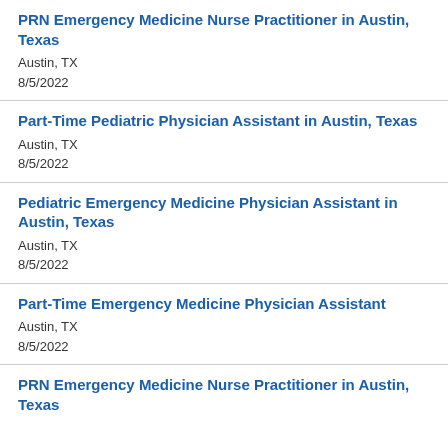PRN Emergency Medicine Nurse Practitioner in Austin, Texas
Austin, TX
8/5/2022
Part-Time Pediatric Physician Assistant in Austin, Texas
Austin, TX
8/5/2022
Pediatric Emergency Medicine Physician Assistant in Austin, Texas
Austin, TX
8/5/2022
Part-Time Emergency Medicine Physician Assistant
Austin, TX
8/5/2022
PRN Emergency Medicine Nurse Practitioner in Austin, Texas